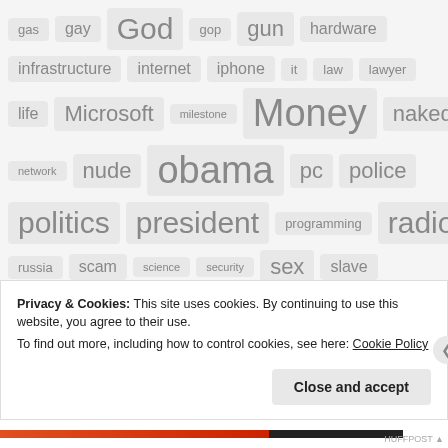[Figure (infographic): Tag cloud showing words of varying sizes: gas, gay, God, gop, gun, hardware, infrastructure, internet, iphone, it, law, lawyer, life, Microsoft, milestone, Money, naked, network, nude, obama, pc, police, politics, president, programming, radio, russia, scam, science, security, sex, slave]
Privacy & Cookies: This site uses cookies. By continuing to use this website, you agree to their use.
To find out more, including how to control cookies, see here: Cookie Policy
Close and accept